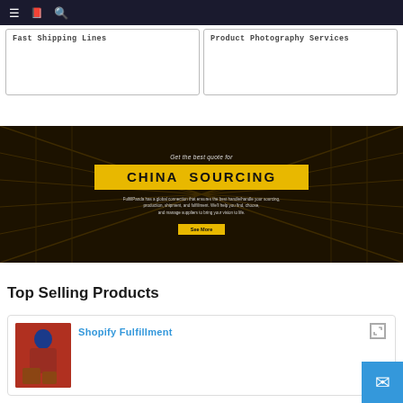Navigation bar with menu, book, and search icons
Fast Shipping Lines
Product Photography Services
[Figure (photo): Dark warehouse aisle banner with text: Get the best quote for CHINA SOURCING. FulfillPanda has a global connection that ensures the best handle/handle your sourcing, production, shipment, and fulfillment. We'll help you find, choose, and manage suppliers to bring your vision to life. See More button.]
Top Selling Products
Shopify Fulfillment
[Figure (photo): Worker in red jacket and blue hat loading boxes into a vehicle]